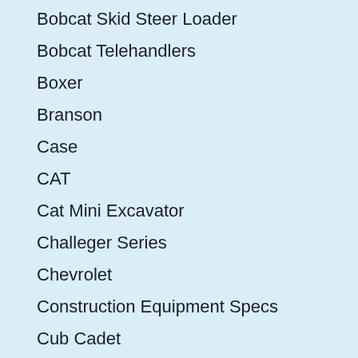Bobcat Skid Steer Loader
Bobcat Telehandlers
Boxer
Branson
Case
CAT
Cat Mini Excavator
Challeger Series
Chevrolet
Construction Equipment Specs
Cub Cadet
DEUTZ-FAHR
Drone
E-Rickshaw